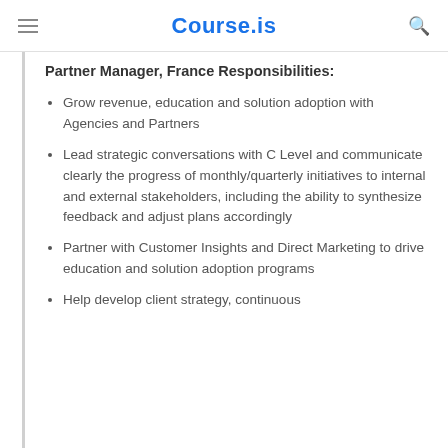Course.is
Partner Manager, France Responsibilities:
Grow revenue, education and solution adoption with Agencies and Partners
Lead strategic conversations with C Level and communicate clearly the progress of monthly/quarterly initiatives to internal and external stakeholders, including the ability to synthesize feedback and adjust plans accordingly
Partner with Customer Insights and Direct Marketing to drive education and solution adoption programs
Help develop client strategy, continuous…